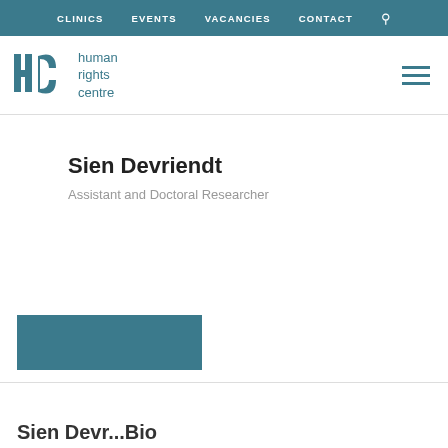CLINICS   EVENTS   VACANCIES   CONTACT
[Figure (logo): Human Rights Centre logo with HRC monogram and text 'human rights centre' in teal]
Sien Devriendt
Assistant and Doctoral Researcher
[Figure (photo): Teal/blue-green rectangular image placeholder for profile photo]
Sien Devr...Bio